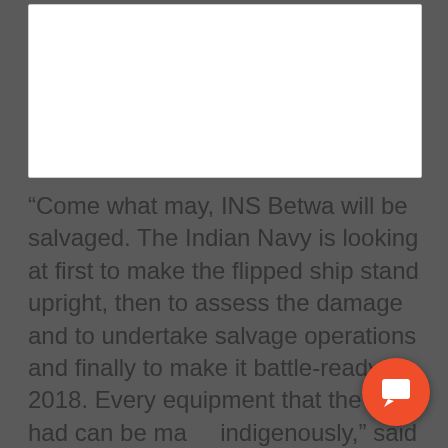[Figure (other): White rectangular card/image placeholder area with light border]
“Come what may, INS Betwa will be salvaged. The Indian Navy is looking at first to make the flipped ship stand upright, then to assess the damage and to undertake salvage operations and finally to make it battle-ready by 2018. Every equipment that the ship had can be made indigenously,” said Indian Navy spokesperson Captain D.K. Sharma.